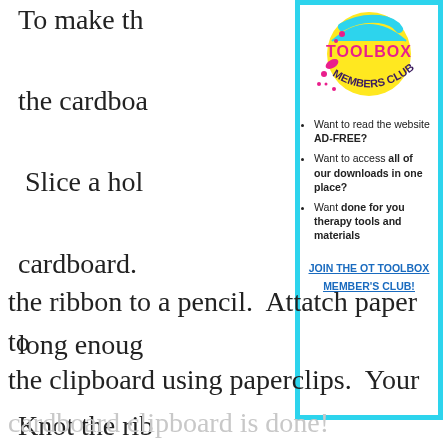To make th
the cardboa
Slice a hol
cardboard.
long enoug
Knot the rib
the ribbon to a pencil.  Attatch paper to the clipboard using paperclips.  Your
[Figure (logo): OT Toolbox Members Club logo - circular yellow badge with pink text 'TOOLBOX' and dark text 'MEMBERS CLUB' with colorful splat decorations]
Want to read the website AD-FREE?
Want to access all of our downloads in one place?
Want done for you therapy tools and materials
JOIN THE OT TOOLBOX MEMBER'S CLUB!
cardboard clipboard is done!